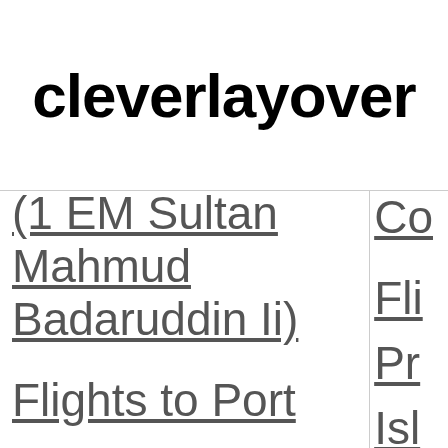cleverlayover
(1 EM Sultan Mahmud Badaruddin Ii)
Co
Fli
Pr
Flights to Port
Isl